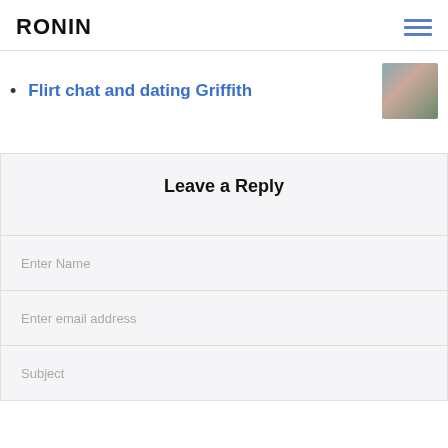RONIN
Flirt chat and dating Griffith
Leave a Reply
Enter Name
Enter email address
Subject